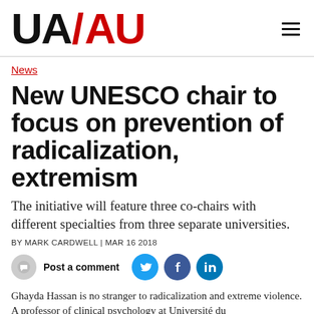UA/AU
News
New UNESCO chair to focus on prevention of radicalization, extremism
The initiative will feature three co-chairs with different specialties from three separate universities.
BY MARK CARDWELL | MAR 16 2018
Post a comment
Ghayda Hassan is no stranger to radicalization and extreme violence. A professor of clinical psychology at Université du